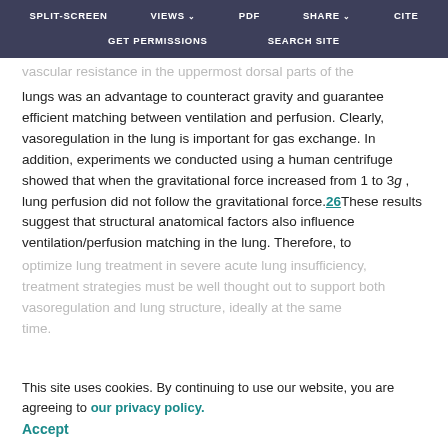SPLIT-SCREEN  VIEWS  PDF  SHARE  CITE  GET PERMISSIONS  SEARCH SITE
vascular resistance in the uppermost dorsal parts of the lungs was an advantage to counteract gravity and guarantee efficient matching between ventilation and perfusion. Clearly, vasoregulation in the lung is important for gas exchange. In addition, experiments we conducted using a human centrifuge showed that when the gravitational force increased from 1 to 3g, lung perfusion did not follow the gravitational force.26These results suggest that structural anatomical factors also influence ventilation/perfusion matching in the lung. Therefore, to
optimize lung treatment in severe acute lung insufficiency, treatment strategies must be well thought out to support both vasoregulation and lung structure, ideally at the same time.
This site uses cookies. By continuing to use our website, you are agreeing to our privacy policy. Accept